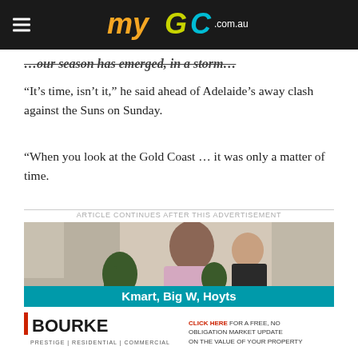myGC.com.au
…our season has emerged, in a storm…
“It’s time, isn’t it,” he said ahead of Adelaide’s away clash against the Suns on Sunday.
“When you look at the Gold Coast … it was only a matter of time.
ARTICLE CONTINUES AFTER THIS ADVERTISEMENT
[Figure (photo): Advertisement photo showing a woman and child with toy dinosaurs in a store, with teal banner text 'Kmart, Big W, Hoyts']
[Figure (logo): Bourke real estate advertisement: BOURKE PRESTIGE | RESIDENTIAL | COMMERCIAL with 'CLICK HERE FOR A FREE, NO OBLIGATION MARKET UPDATE ON THE VALUE OF YOUR PROPERTY']